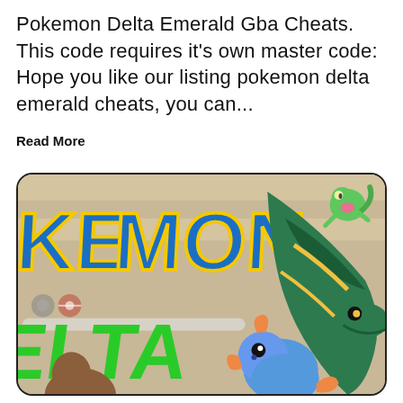Pokemon Delta Emerald Gba Cheats. This code requires it's own master code: Hope you like our listing pokemon delta emerald cheats, you can...
Read More
[Figure (illustration): Pokemon Delta Emerald game cover art showing the Pokemon logo text 'KEMON' in blue and yellow, with 'DELTA' in green graffiti-style text. Features Rayquaza (large green dragon), Treecko (small green lizard on top), Mudkip (blue and orange water Pokemon), and a trainer character. Background is beige/tan with Pokeball icons.]